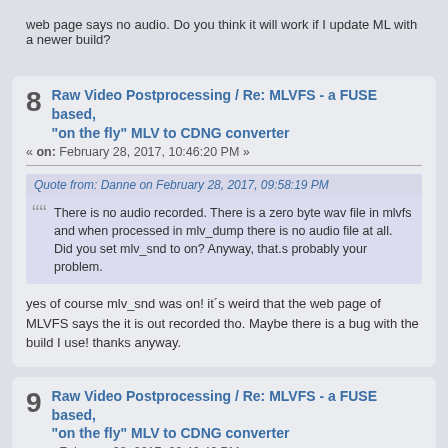web page says no audio. Do you think it will work if I update ML with a newer build?
8 Raw Video Postprocessing / Re: MLVFS - a FUSE based, "on the fly" MLV to CDNG converter
« on: February 28, 2017, 10:46:20 PM »
Quote from: Danne on February 28, 2017, 09:58:19 PM
There is no audio recorded. There is a zero byte wav file in mlvfs and when processed in mlv_dump there is no audio file at all. Did you set mlv_snd to on? Anyway, that.s probably your problem.
yes of course mlv_snd was on! it´s weird that the web page of MLVFS says the it is out recorded tho. Maybe there is a bug with the build I use! thanks anyway.
9 Raw Video Postprocessing / Re: MLVFS - a FUSE based, "on the fly" MLV to CDNG converter
« on: February 28, 2017, 09:42:46 PM »
Quote from: Danne on February 28, 2017, 08:11:22 PM